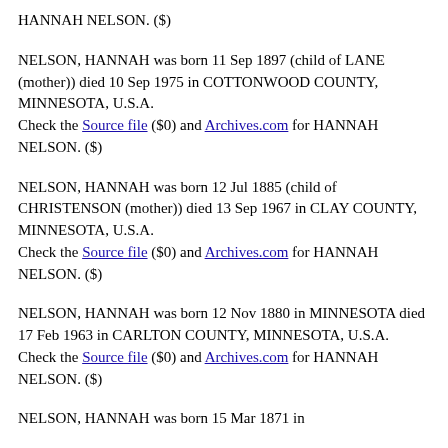HANNAH NELSON. ($)
NELSON, HANNAH was born 11 Sep 1897 (child of LANE (mother)) died 10 Sep 1975 in COTTONWOOD COUNTY, MINNESOTA, U.S.A.
Check the Source file ($0) and Archives.com for HANNAH NELSON. ($)
NELSON, HANNAH was born 12 Jul 1885 (child of CHRISTENSON (mother)) died 13 Sep 1967 in CLAY COUNTY, MINNESOTA, U.S.A.
Check the Source file ($0) and Archives.com for HANNAH NELSON. ($)
NELSON, HANNAH was born 12 Nov 1880 in MINNESOTA died 17 Feb 1963 in CARLTON COUNTY, MINNESOTA, U.S.A.
Check the Source file ($0) and Archives.com for HANNAH NELSON. ($)
NELSON, HANNAH was born 15 Mar 1871 in